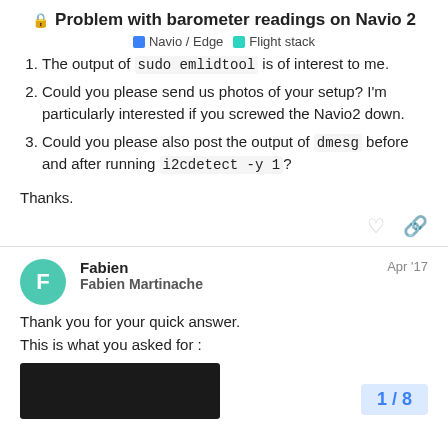Problem with barometer readings on Navio 2
Navio / Edge   Flight stack
The output of sudo emlidtool is of interest to me.
Could you please send us photos of your setup? I'm particularly interested if you screwed the Navio2 down.
Could you please also post the output of dmesg before and after running i2cdetect -y 1?
Thanks.
Fabien
Fabien Martinache
Apr '17
Thank you for your quick answer.
This is what you asked for :
1 / 8